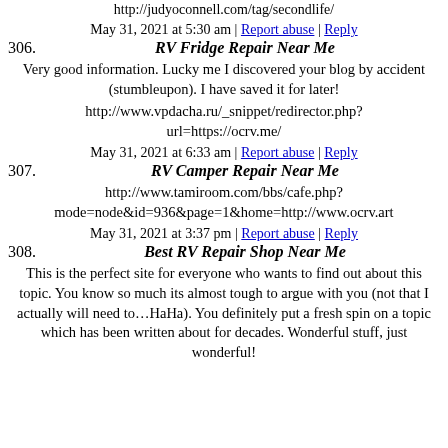http://judyoconnell.com/tag/secondlife/
May 31, 2021 at 5:30 am | Report abuse | Reply
306. RV Fridge Repair Near Me
Very good information. Lucky me I discovered your blog by accident (stumbleupon). I have saved it for later!
http://www.vpdacha.ru/_snippet/redirector.php?url=https://ocrv.me/
May 31, 2021 at 6:33 am | Report abuse | Reply
307. RV Camper Repair Near Me
http://www.tamiroom.com/bbs/cafe.php?mode=node&id=936&page=1&home=http://www.ocrv.art
May 31, 2021 at 3:37 pm | Report abuse | Reply
308. Best RV Repair Shop Near Me
This is the perfect site for everyone who wants to find out about this topic. You know so much its almost tough to argue with you (not that I actually will need to…HaHa). You definitely put a fresh spin on a topic which has been written about for decades. Wonderful stuff, just wonderful!